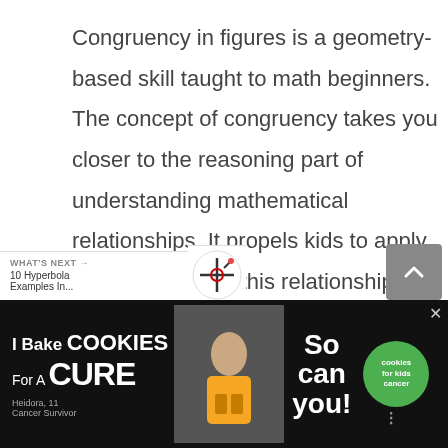Congruency in figures is a geometry-based skill taught to math beginners. The concept of congruency takes you closer to the reasoning part of understanding mathematical relationships. It propels kids to apply logic to establish this relationship. Learning this concept requires applying an understanding of orientations too, as gruency does not end if the shapes are translated, or transferred to different planes. It is different from the concept of
[Figure (other): Heart favorite button - teal circular icon with heart symbol]
[Figure (other): Share button icon]
[Figure (other): What's Next navigation bar showing '10 Hyperbola Examples In...' with logo and scroll-up button]
[Figure (other): Advertisement banner: 'I Bake COOKIES For A CURE' with cookies for kids cancer logo, photo of child]